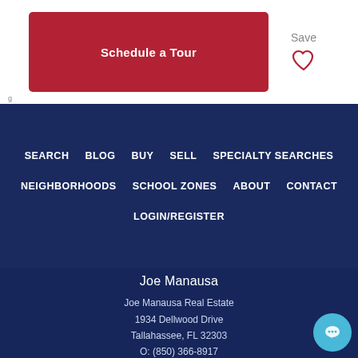Schedule a Tour
Save
Share
SEARCH   BLOG   BUY   SELL   SPECIALTY SEARCHES   NEIGHBORHOODS   SCHOOL ZONES   ABOUT   CONTACT   LOGIN/REGISTER
Joe Manausa
Joe Manausa Real Estate
1934 Dellwood Drive
Tallahassee, FL 32303
O: (850) 366-8917